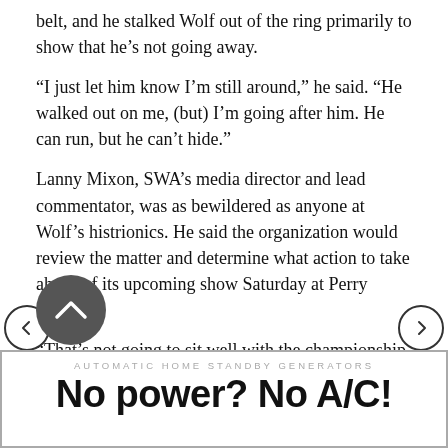belt, and he stalked Wolf out of the ring primarily to show that he’s not going away.
“I just let him know I’m still around,” he said. “He walked out on me, (but) I’m going after him. He can run, but he can’t hide.”
Lanny Mixon, SWA’s media director and lead commentator, was as bewildered as anyone at Wolf’s histrionics. He said the organization would review the matter and determine what action to take ahead of its upcoming show Saturday at Perry Central.
“That’s not going to sit well with the championship committee,” Mixon said. “What he has lined up and what he does with that, that decision’s on the committee, but I can tell you (the committee chairman) is not going to be happy with those antics.”
[Figure (other): Navigation arrows (left and right chevron circles) overlaid on the text content]
[Figure (other): Scroll-up button (dark circle with upward chevron)]
[Figure (other): Advertisement banner: AUTOMATIC HOME STANDBY GENERATORS — No power? No A/C!]